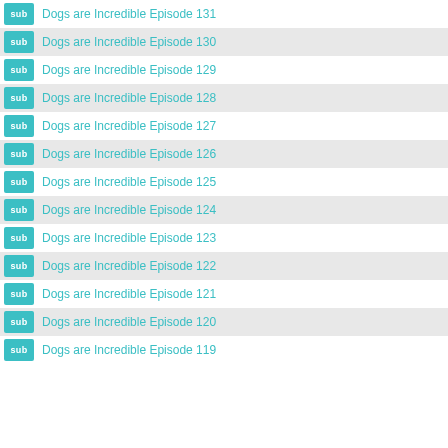sub Dogs are Incredible Episode 131
sub Dogs are Incredible Episode 130
sub Dogs are Incredible Episode 129
sub Dogs are Incredible Episode 128
sub Dogs are Incredible Episode 127
sub Dogs are Incredible Episode 126
sub Dogs are Incredible Episode 125
sub Dogs are Incredible Episode 124
sub Dogs are Incredible Episode 123
sub Dogs are Incredible Episode 122
sub Dogs are Incredible Episode 121
sub Dogs are Incredible Episode 120
sub Dogs are Incredible Episode 119